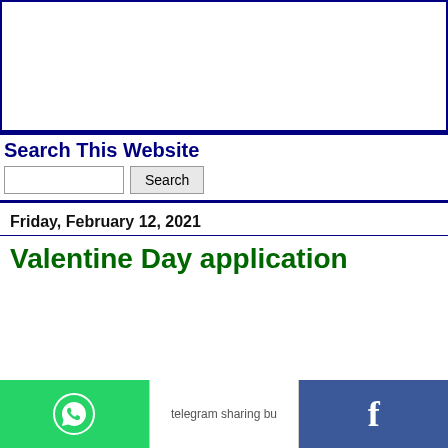[Figure (other): Advertisement box, white background with dark blue border]
Search This Website
Search (input field and button)
Friday, February 12, 2021
Valentine Day application
[Figure (other): Share bar at bottom: WhatsApp (green), Telegram (white with logo text), Facebook (blue with f icon)]